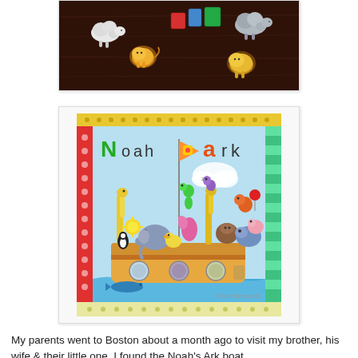[Figure (photo): Photo of colorful paper animal cutouts (sheep, lion, giraffe, etc.) arranged on a dark brown wooden surface.]
[Figure (photo): Colorful Noah's Ark children's book cover featuring a boat filled with illustrated animals including giraffes, elephants, hippos, bears, penguins, and more, with 'Noah's Ark' text at the top.]
My parents went to Boston about a month ago to visit my brother, his wife & their little one. I found the Noah's Ark boat